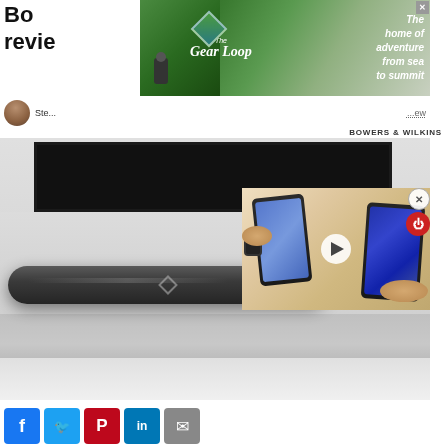Bowers & Wilkins review
[Figure (advertisement): The Gear Loop advertisement banner - outdoor adventure scene with hiker, text reads 'The home of adventure from sea to summit']
Ste... ew
BOWERS & WILKINS
[Figure (photo): Bowers & Wilkins soundbar placed on a white surface below a large flat-screen TV mounted on a gray wall. An overlay video thumbnail shows two smartphones being held by hands with a watch visible, with a play button in the center.]
[Figure (screenshot): Social share buttons: Facebook (blue), Twitter (light blue), Pinterest (red), LinkedIn (dark blue), Email (gray)]